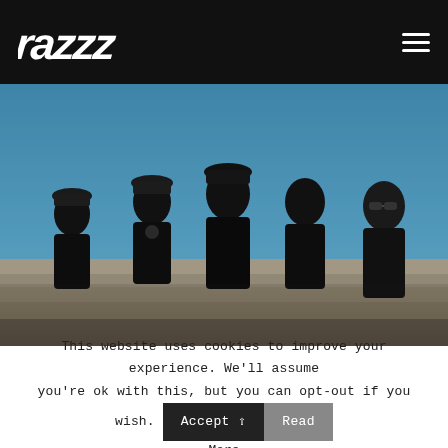[Figure (logo): razzz band logo in white handwritten style text on black header bar]
[Figure (photo): Five men dressed in black standing on steps against a blue sky background]
This website uses cookies to improve your experience. We'll assume you're ok with this, but you can opt-out if you wish. Accept Read More